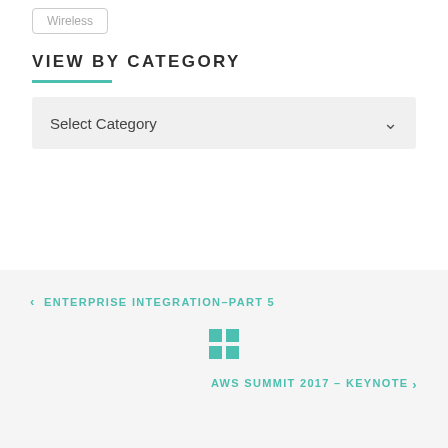Wireless
VIEW BY CATEGORY
Select Category
< ENTERPRISE INTEGRATION–PART 5
[Figure (other): Grid/menu icon made of four teal squares in a 2x2 arrangement]
AWS SUMMIT 2017 – KEYNOTE >